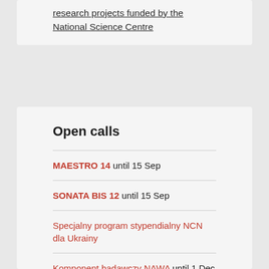research projects funded by the National Science Centre
Open calls
MAESTRO 14 until 15 Sep
SONATA BIS 12 until 15 Sep
Specjalny program stypendialny NCN dla Ukrainy
Komponent badawczy NAWA until 1 Dec
Weave-UNISONO